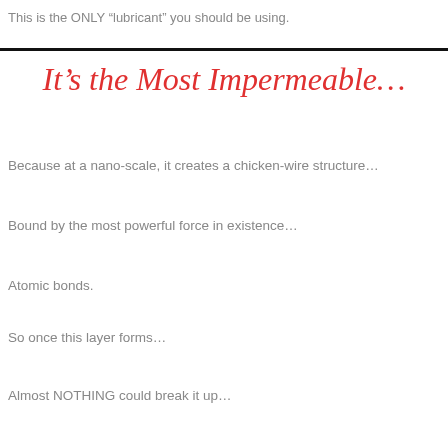This is the ONLY “lubricant” you should be using.
It’s the Most Impermeable…
Because at a nano-scale, it creates a chicken-wire structure…
Bound by the most powerful force in existence…
Atomic bonds.
So once this layer forms…
Almost NOTHING could break it up…